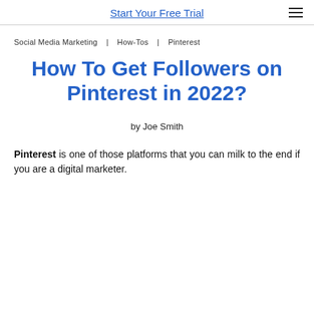Start Your Free Trial
Social Media Marketing  |  How-Tos  |  Pinterest
How To Get Followers on Pinterest in 2022?
by Joe Smith
Pinterest is one of those platforms that you can milk to the end if you are a digital marketer.